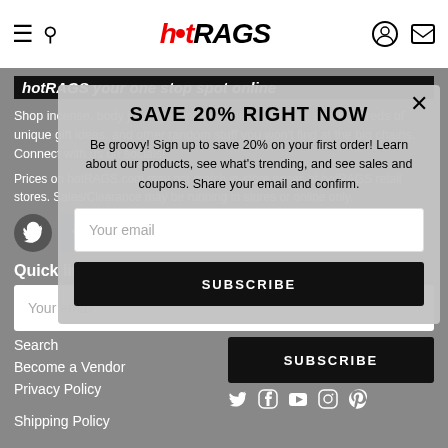hotRAGS
hotRAGS your one stop spot online
Shop incense, body jewelry, candles, juniors, posters, and hundreds of unique gift ideas. and other random stuff you won't find at the big chains. Connect with us on socials!
Prices on hotRAGS.com may not match in-store prices at hotRAGS retail stores. Sales/Clearance may be running in stores or online only.
[Figure (logo): Social media icons: Twitter, Facebook, YouTube, Instagram, Pinterest]
Quick links
Search
Become a Vendor
Privacy Policy
Shipping Policy
[Figure (infographic): SAVE 20% RIGHT NOW modal overlay - Be groovy! Sign up to save 20% on your first order! Learn about our products, see what's trending, and see sales and coupons. Share your email and confirm. Email input field and SUBSCRIBE button.]